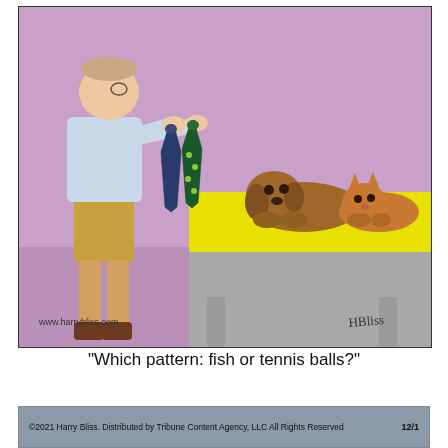[Figure (illustration): A comic strip by Harry Bliss. A man stands holding up two neckties — one dark blue/navy and one dark green with a pattern — showing them to a dog and a cat lying on a bed with a yellow bedspread. The background is purple/mauve. The man is wearing a light blue shirt and khaki shorts. The website www.harrybliss.com appears in the lower left of the cartoon. A handwritten signature 'HBliss' appears in the lower right.]
"Which pattern: fish or tennis balls?"
©2021 Harry Bliss. Distributed by Tribune Content Agency, LLC All Rights Reserved   12/1